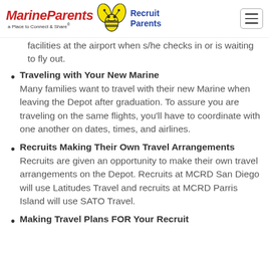[Figure (logo): MarineParents logo with tagline 'a Place to Connect & Share®', bee mascot, and 'Recruit Parents' text in blue]
facilities at the airport when s/he checks in or is waiting to fly out.
Traveling with Your New Marine — Many families want to travel with their new Marine when leaving the Depot after graduation. To assure you are traveling on the same flights, you'll have to coordinate with one another on dates, times, and airlines.
Recruits Making Their Own Travel Arrangements — Recruits are given an opportunity to make their own travel arrangements on the Depot. Recruits at MCRD San Diego will use Latitudes Travel and recruits at MCRD Parris Island will use SATO Travel.
Making Travel Plans FOR Your Recruit